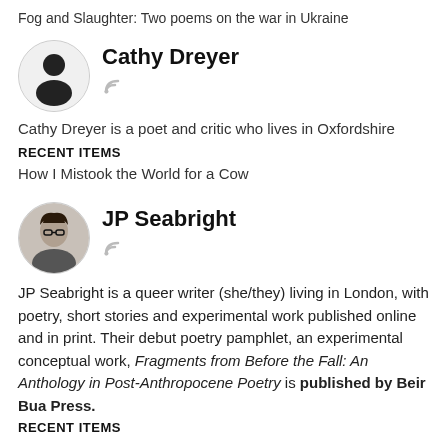Fog and Slaughter: Two poems on the war in Ukraine
[Figure (illustration): Circular avatar placeholder with silhouette of a person (no photo), grey background]
Cathy Dreyer
Cathy Dreyer is a poet and critic who lives in Oxfordshire
RECENT ITEMS
How I Mistook the World for a Cow
[Figure (photo): Circular avatar photo of JP Seabright, a person with short dark hair and glasses]
JP Seabright
JP Seabright is a queer writer (she/they) living in London, with poetry, short stories and experimental work published online and in print. Their debut poetry pamphlet, an experimental conceptual work, Fragments from Before the Fall: An Anthology in Post-Anthropocene Poetry is published by Beir Bua Press.
RECENT ITEMS